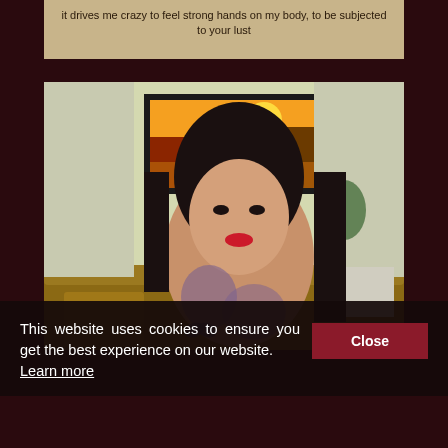it drives me crazy to feel strong hands on my body, to be subjected to your lust
[Figure (photo): A tattooed woman with long dark hair and red lipstick sitting in a room with a golden sofa and a landscape painting on the wall behind her.]
This website uses cookies to ensure you get the best experience on our website. Learn more
Close